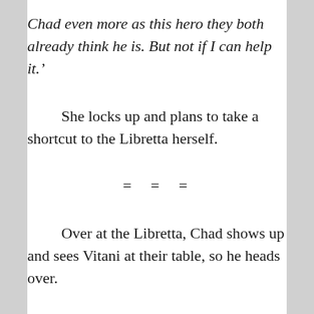Chad even more as this hero they both already think he is. But not if I can help it.'
She locks up and plans to take a shortcut to the Libretta herself.
= = =
Over at the Libretta, Chad shows up and sees Vitani at their table, so he heads over.
“Hey Vitani,” Chad says as he sits down, “You said meet you guys over at the condo before. Why do you guys wanna meet at the